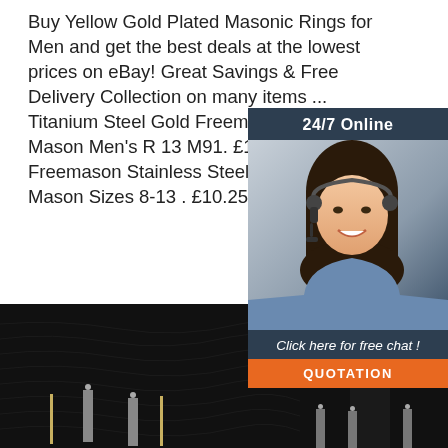Buy Yellow Gold Plated Masonic Rings for Men and get the best deals at the lowest prices on eBay! Great Savings & Free Delivery Collection on many items ... Titanium Steel Gold Freemasonry Masonry Mason Men's R 13 M91. £10.04. ... Mens Freemason Stainless Steel Masonic Lodge Mason Sizes 8-13 . £10.25. £9.75 postage.
[Figure (photo): Customer service representative with headset, 24/7 Online chat widget with orange QUOTATION button]
Get Price
[Figure (photo): Dark background product image with candles or similar items, and TOP logo in orange on the right side]